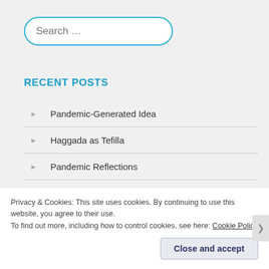[Figure (screenshot): Search input box with cyan/blue border, placeholder text 'Search ...']
RECENT POSTS
Pandemic-Generated Idea
Haggada as Tefilla
Pandemic Reflections
Graduation Speech 2019: Mountain Climbing
Privacy & Cookies: This site uses cookies. By continuing to use this website, you agree to their use.
To find out more, including how to control cookies, see here: Cookie Policy
Close and accept